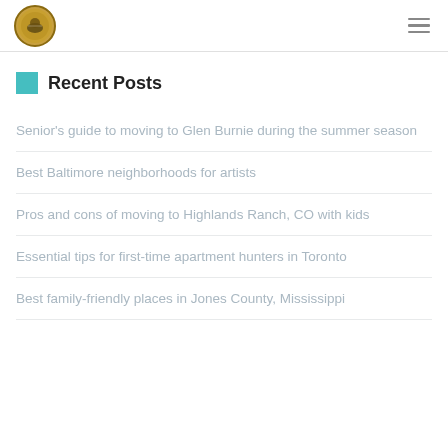Recent Posts
Senior's guide to moving to Glen Burnie during the summer season
Best Baltimore neighborhoods for artists
Pros and cons of moving to Highlands Ranch, CO with kids
Essential tips for first-time apartment hunters in Toronto
Best family-friendly places in Jones County, Mississippi